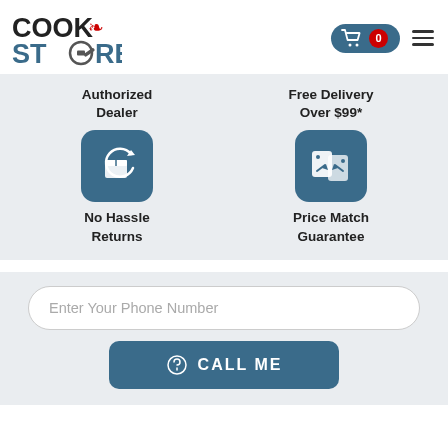[Figure (logo): CookStore logo with maple leaf and spatula icon]
[Figure (infographic): Shopping cart icon with 0 badge and hamburger menu]
Authorized Dealer
Free Delivery Over $99*
[Figure (infographic): No Hassle Returns icon - box with refresh arrow]
[Figure (infographic): Price Match Guarantee icon - price tags with arrows]
No Hassle Returns
Price Match Guarantee
Enter Your Phone Number
CALL ME